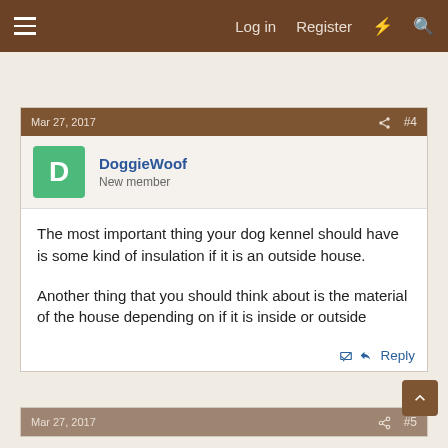≡  Log in  Register  ⚡  🔍
Mar 27, 2017  #4
DoggieWoof
New member
The most important thing your dog kennel should have is some kind of insulation if it is an outside house.

Another thing that you should think about is the material of the house depending on if it is inside or outside
↩ Reply
Mar 27, 2017  #5